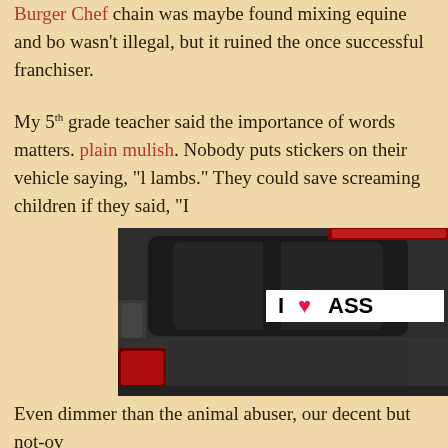Burger Chef chain was maybe found mixing equine and bo wasn't illegal, but it ruined the once successful franchiser.
My 5th grade teacher said the importance of words matters. plain mulish. Nobody puts stickers on their vehicle saying, "lambs." They could save screaming children if they said, "I
[Figure (photo): Rear view of a dark grey pickup truck with a bumper sticker on the back window reading 'I ♥ ASS' with a pink heart, partially cut off. The truck has red brake lights visible at the top.]
Even dimmer than the animal abuser, our decent but not-ov